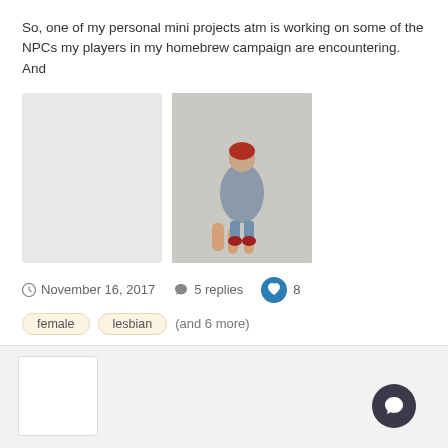So, one of my personal mini projects atm is working on some of the NPCs my players in my homebrew campaign are encountering. And
[Figure (photo): Two images side by side: a blank/light placeholder image on the left, and a painted miniature figurine (appears to be a small character with red hair) held by fingers on the right.]
November 16, 2017  5 replies  8
female  lesbian  (and 6 more)
[Figure (photo): Small white avatar placeholder image]
Blue Dragonborn
Consequence posted a topic in Show Off: Painting
Here is my newest D&D character. There are very few Dragonborn minis so i had to work with what I found. This is Khalla the dragonborn
[Figure (photo): Three placeholder thumbnail images at the bottom of the page]